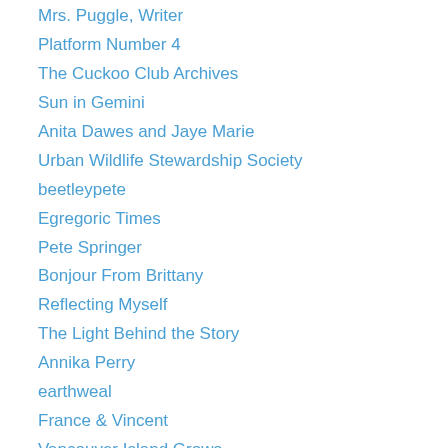Mrs. Puggle, Writer
Platform Number 4
The Cuckoo Club Archives
Sun in Gemini
Anita Dawes and Jaye Marie
Urban Wildlife Stewardship Society
beetleypete
Egregoric Times
Pete Springer
Bonjour From Brittany
Reflecting Myself
The Light Behind the Story
Annika Perry
earthweal
France & Vincent
Vancouver Island Grows
Rogue Garden
Susan Rushton
Bog time
The Precipice Dominions... (A Fantasy Trilogy)